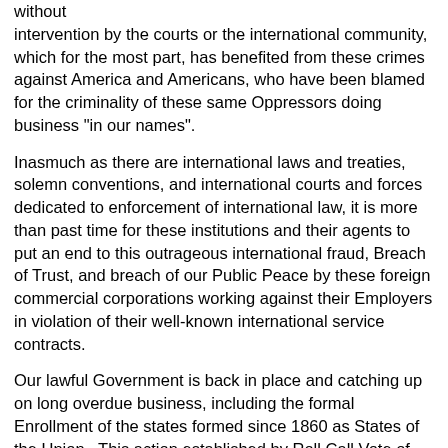without intervention by the courts or the international community, which for the most part, has benefited from these crimes against America and Americans, who have been blamed for the criminality of these same Oppressors doing business "in our names".
Inasmuch as there are international laws and treaties, solemn conventions, and international courts and forces dedicated to enforcement of international law, it is more than past time for these institutions and their agents to put an end to this outrageous international fraud, Breach of Trust, and breach of our Public Peace by these foreign commercial corporations working against their Employers in violation of their well-known international service contracts.
Our lawful Government is back in place and catching up on long overdue business, including the formal Enrollment of the states formed since 1860 as States of the Union.  This action established by Roll Call Vote of the actual State Assemblies took effect 1 October 2020 and is retroactive to the date when each such incipient State entered into Territorial Statehood.
There is no longer any excuse to pretend that our government is absent or failing to take care of its business interests, nor is there any reason to presume any custodial interest by any